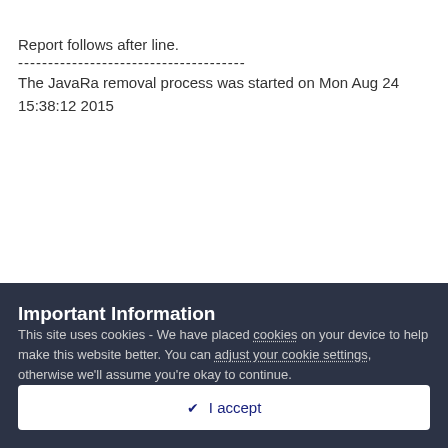Report follows after line.
--------------------------------------
The JavaRa removal process was started on Mon Aug 24 15:38:12 2015
Important Information
This site uses cookies - We have placed cookies on your device to help make this website better. You can adjust your cookie settings, otherwise we'll assume you're okay to continue.
✔ I accept